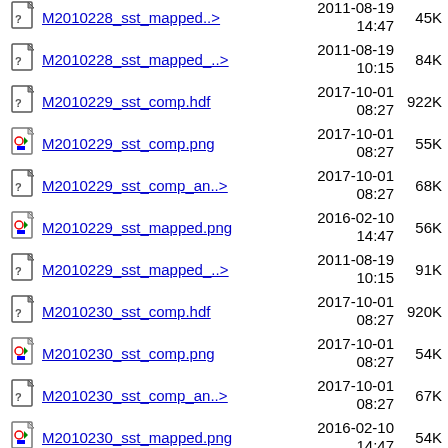M2010228_sst_mapped..> 2011-08-19 14:47 45K (partial, top cut off)
M2010228_sst_mapped..> 2011-08-19 10:15 84K
M2010229_sst_comp.hdf 2017-10-01 08:27 922K
M2010229_sst_comp.png 2017-10-01 08:27 55K
M2010229_sst_comp_an..> 2017-10-01 08:27 68K
M2010229_sst_mapped.png 2016-02-10 14:47 56K
M2010229_sst_mapped..> 2011-08-19 10:15 91K
M2010230_sst_comp.hdf 2017-10-01 08:27 920K
M2010230_sst_comp.png 2017-10-01 08:27 54K
M2010230_sst_comp_an..> 2017-10-01 08:27 67K
M2010230_sst_mapped.png 2016-02-10 14:47 54K
M2010230_sst_mapped..> 2011-08-19 10:15 95K